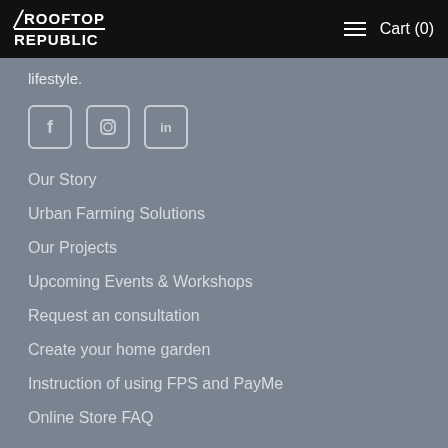Rooftop Republic  ≡  Cart (0)
lifestyle.
[Figure (illustration): Social media icons: Facebook, Instagram, LinkedIn in square bordered icons]
Our Story
Urban Farming Solutions
Our Projects
Upcoming Events & Workshops
Request an consultation
Create your home garden
Instruction of using FPS and PayMe
Online Store FAQ